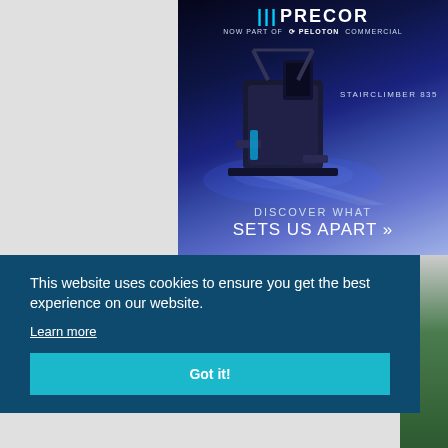[Figure (advertisement): Precor fitness equipment advertisement showing a Stairclimber 835 machine against a dark blue gradient background. Text reads 'PRECOR', 'NOW PART OF PELOTON COMMERCIAL', 'STAIRCLIMBER 835', 'DISCOVER WHAT SETS US APART »']
This website uses cookies to ensure you get the best experience on our website.
Learn more
Got it!